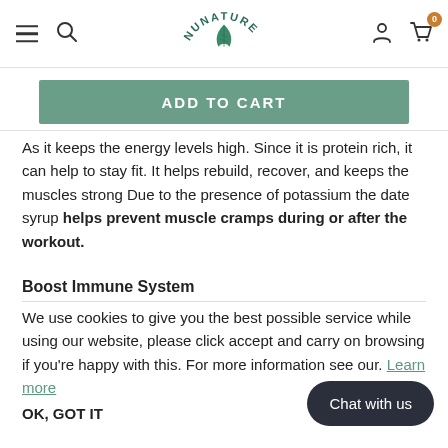NuNature header with hamburger menu, search, logo, user icon, and cart (0)
[Figure (screenshot): Green Add to Cart button]
As it keeps the energy levels high. Since it is protein rich, it can help to stay fit. It helps rebuild, recover, and keeps the muscles strong Due to the presence of potassium the date syrup helps prevent muscle cramps during or after the workout.
Boost Immune System
We use cookies to give you the best possible service while using our website, please click accept and carry on browsing if you’re happy with this. For more information see our. Learn more
OK, GOT IT